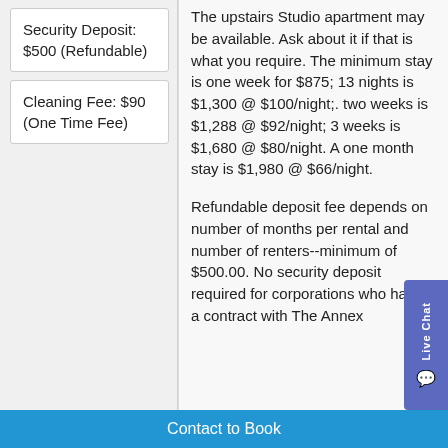Security Deposit: $500 (Refundable)
Cleaning Fee: $90 (One Time Fee)
The upstairs Studio apartment may be available. Ask about it if that is what you require. The minimum stay is one week for $875; 13 nights is $1,300 @ $100/night;. two weeks is $1,288 @ $92/night; 3 weeks is $1,680 @ $80/night. A one month stay is $1,980 @ $66/night.
Refundable deposit fee depends on number of months per rental and number of renters--minimum of $500.00. No security deposit required for corporations who have a contract with The Annex
Contact to Book